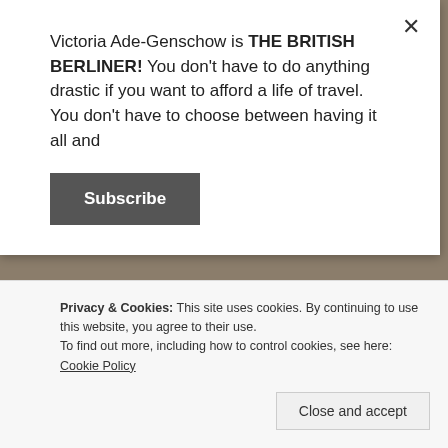Victoria Ade-Genschow is THE BRITISH BERLINER! You don't have to do anything drastic if you want to afford a life of travel. You don't have to choose between having it all and
Subscribe
Need I remind you that I am The British Berliner?
Need I tell you that being British and also living in the city of Berlin makes a rather interesting combination?
And it all makes perfect sense.
Privacy & Cookies: This site uses cookies. By continuing to use this website, you agree to their use.
To find out more, including how to control cookies, see here: Cookie Policy
Close and accept